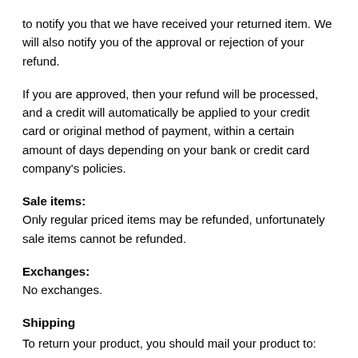to notify you that we have received your returned item. We will also notify you of the approval or rejection of your refund.
If you are approved, then your refund will be processed, and a credit will automatically be applied to your credit card or original method of payment, within a certain amount of days depending on your bank or credit card company's policies.
Sale items:
Only regular priced items may be refunded, unfortunately sale items cannot be refunded.
Exchanges:
No exchanges.
Shipping
To return your product, you should mail your product to:
You will be responsible for paying for your own shipping costs for